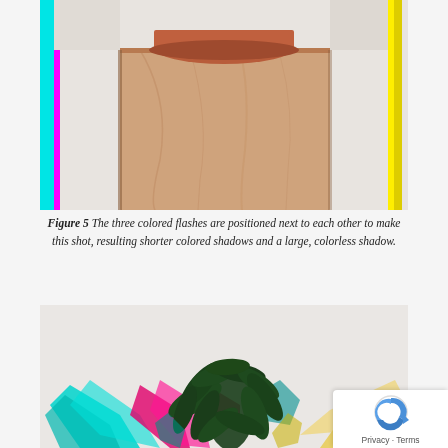[Figure (photo): A terracotta plant pot sitting on a wooden box/pedestal against a white background. Colored flashes (cyan, magenta/red, yellow) are visible around the edges of the box, creating colored shadows. The photo is cropped to show mainly the wooden pedestal and bottom of the pot.]
Figure 5 The three colored flashes are positioned next to each other to make this shot, resulting shorter colored shadows and a large, colorless shadow.
[Figure (photo): A dark green leafy plant (appears to be a ZZ plant or similar) against a white background. Multiple colored shadows in cyan, magenta, pink, and yellow fan out dramatically from the plant, showing the effect of colored flash lighting positioned around the subject.]